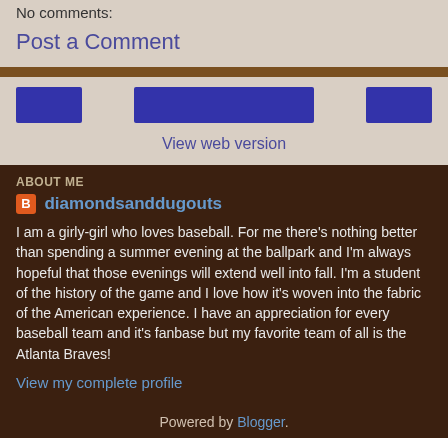No comments:
Post a Comment
[Figure (other): Navigation buttons: three blue rectangle buttons (left, center, right) on a beige background]
View web version
ABOUT ME
diamondsanddugouts
I am a girly-girl who loves baseball. For me there's nothing better than spending a summer evening at the ballpark and I'm always hopeful that those evenings will extend well into fall. I'm a student of the history of the game and I love how it's woven into the fabric of the American experience. I have an appreciation for every baseball team and it's fanbase but my favorite team of all is the Atlanta Braves!
View my complete profile
Powered by Blogger.